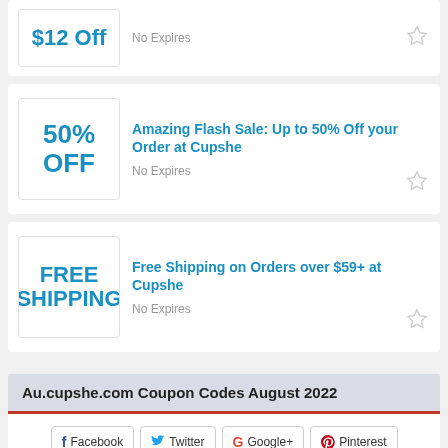[Figure (other): Coupon card showing $12 Off with No Expires label and star icon]
[Figure (other): Coupon card showing 50% OFF with title Amazing Flash Sale: Up to 50% Off your Order at Cupshe, No Expires, star icon]
[Figure (other): Coupon card showing FREE SHIPPING with title Free Shipping on Orders over $59+ at Cupshe, No Expires, star icon]
Au.cupshe.com Coupon Codes August 2022
Facebook  Twitter  Google+  Pinterest